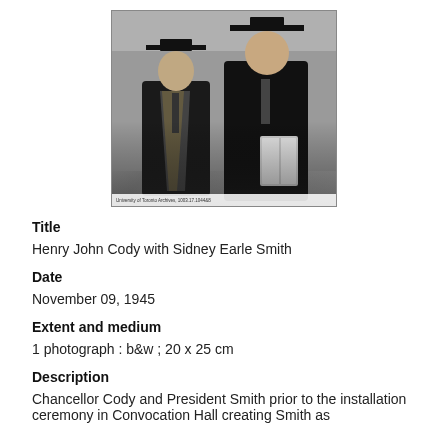[Figure (photo): Black and white photograph of two men in academic regalia (mortarboard caps and gowns) standing together. The man on the left is older and shorter, the man on the right is larger and holds what appears to be a book or folder. A small caption bar appears at the bottom of the photo.]
Title
Henry John Cody with Sidney Earle Smith
Date
November 09, 1945
Extent and medium
1 photograph : b&w ; 20 x 25 cm
Description
Chancellor Cody and President Smith prior to the installation ceremony in Convocation Hall creating Smith as